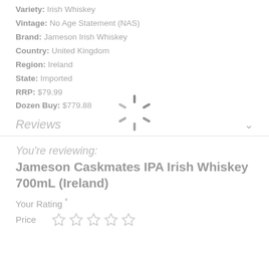Variety: Irish Whiskey
Vintage: No Age Statement (NAS)
Brand: Jameson Irish Whiskey
Country: United Kingdom
Region: Ireland
State: Imported
RRP: $79.99
Dozen Buy: $779.88
[Figure (other): Loading spinner (spinning radial lines icon)]
Reviews
You're reviewing:
Jameson Caskmates IPA Irish Whiskey 700mL (Ireland)
Your Rating *
Price ☆ ☆ ☆ ☆ ☆